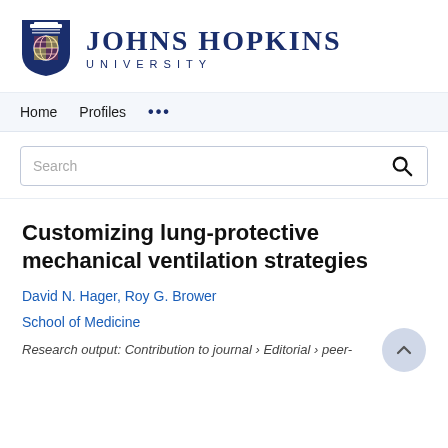[Figure (logo): Johns Hopkins University logo with shield and text]
Home   Profiles   ...
Search
Customizing lung-protective mechanical ventilation strategies
David N. Hager, Roy G. Brower
School of Medicine
Research output: Contribution to journal › Editorial › peer-review